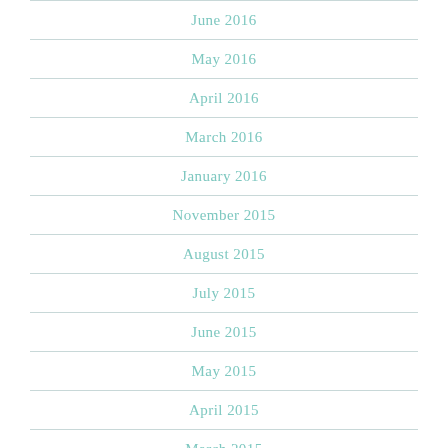June 2016
May 2016
April 2016
March 2016
January 2016
November 2015
August 2015
July 2015
June 2015
May 2015
April 2015
March 2015